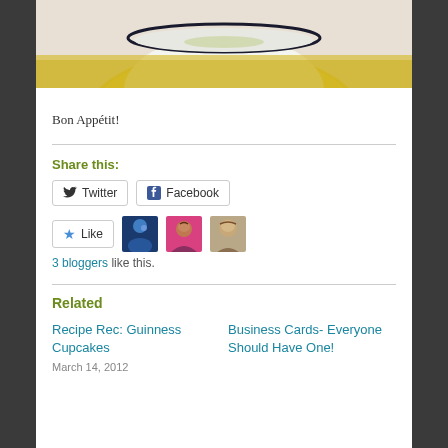[Figure (photo): Top portion of a food photo showing a bowl with soup or dish on a yellow plate, partially cropped at top]
Bon Appétit!
Share this:
[Figure (screenshot): Twitter share button]
[Figure (screenshot): Facebook share button]
[Figure (screenshot): Like button with star icon and 3 blogger avatars]
3 bloggers like this.
Related
Recipe Rec: Guinness Cupcakes
March 14, 2012
Business Cards- Everyone Should Have One!